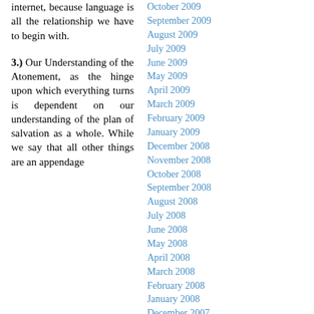internet, because language is all the relationship we have to begin with.
3.) Our Understanding of the Atonement, as the hinge upon which everything turns is dependent on our understanding of the plan of salvation as a whole. While we say that all other things are an appendage
October 2009
September 2009
August 2009
July 2009
June 2009
May 2009
April 2009
March 2009
February 2009
January 2009
December 2008
November 2008
October 2008
September 2008
August 2008
July 2008
June 2008
May 2008
April 2008
March 2008
February 2008
January 2008
December 2007
November 2007
October 2007
September 2007
August 2007
July 2007
June 2007
May 2007
April 2007
March 2007
February 2007
January 2007
December 2006
November 2006
October 2006
September 2006